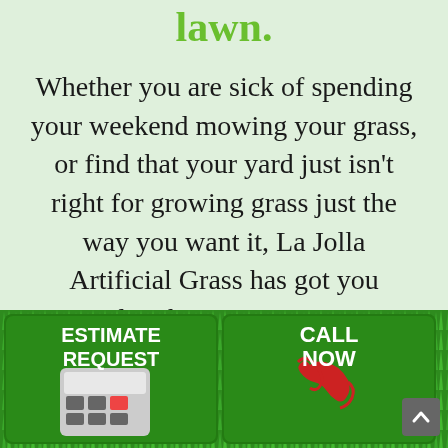lawn.
Whether you are sick of spending your weekend mowing your grass, or find that your yard just isn't right for growing grass just the way you want it, La Jolla Artificial Grass has got you covered with our innovative sy...ns:
[Figure (infographic): Two CTA buttons side by side on a grass background: 'ESTIMATE REQUEST' with a calculator icon on the left, and 'CALL NOW' with a red telephone handset on the right. A scroll-to-top button appears in the bottom right corner.]